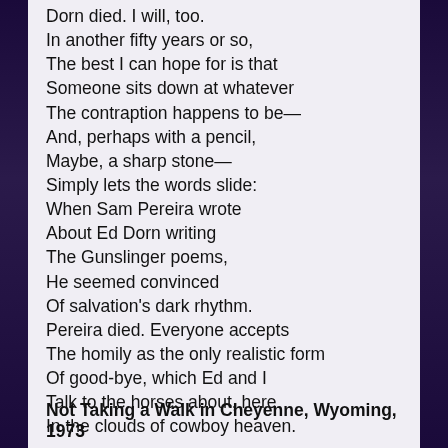Dorn died. I will, too.
In another fifty years or so,
The best I can hope for is that
Someone sits down at whatever
The contraption happens to be—
And, perhaps with a pencil,
Maybe, a sharp stone—
Simply lets the words slide:
When Sam Pereira wrote
About Ed Dorn writing
The Gunslinger poems,
He seemed convinced
Of salvation's dark rhythm.
Pereira died. Everyone accepts
The homily as the only realistic form
Of good-bye, which Ed and I
Talk to the horses about, here
In the clouds of cowboy heaven.
Not Taking a Walk in Cheyenne, Wyoming, 1973